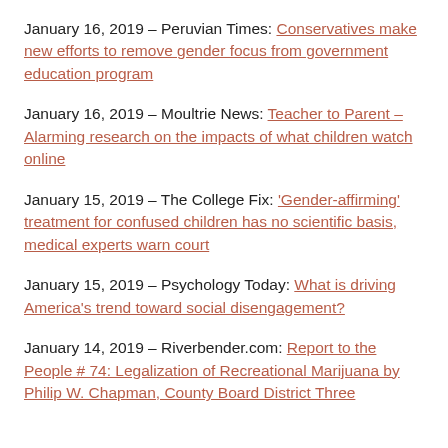January 16, 2019 – Peruvian Times: Conservatives make new efforts to remove gender focus from government education program
January 16, 2019 – Moultrie News: Teacher to Parent – Alarming research on the impacts of what children watch online
January 15, 2019 – The College Fix: 'Gender-affirming' treatment for confused children has no scientific basis, medical experts warn court
January 15, 2019 – Psychology Today: What is driving America's trend toward social disengagement?
January 14, 2019 – Riverbender.com: Report to the People # 74: Legalization of Recreational Marijuana by Philip W. Chapman, County Board District Three